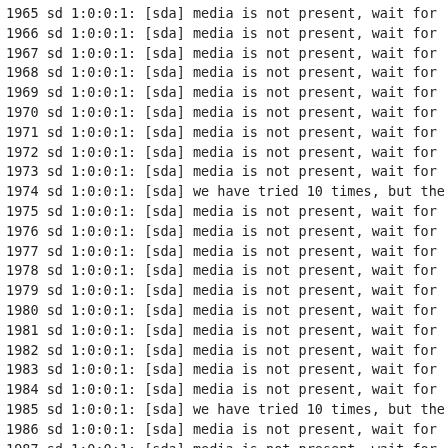1965   sd 1:0:0:1: [sda] media is not present, wait for
1966   sd 1:0:0:1: [sda] media is not present, wait for
1967   sd 1:0:0:1: [sda] media is not present, wait for
1968   sd 1:0:0:1: [sda] media is not present, wait for
1969   sd 1:0:0:1: [sda] media is not present, wait for
1970   sd 1:0:0:1: [sda] media is not present, wait for
1971   sd 1:0:0:1: [sda] media is not present, wait for
1972   sd 1:0:0:1: [sda] media is not present, wait for
1973   sd 1:0:0:1: [sda] media is not present, wait for
1974   sd 1:0:0:1: [sda] we have tried 10 times, but the
1975   sd 1:0:0:1: [sda] media is not present, wait for
1976   sd 1:0:0:1: [sda] media is not present, wait for
1977   sd 1:0:0:1: [sda] media is not present, wait for
1978   sd 1:0:0:1: [sda] media is not present, wait for
1979   sd 1:0:0:1: [sda] media is not present, wait for
1980   sd 1:0:0:1: [sda] media is not present, wait for
1981   sd 1:0:0:1: [sda] media is not present, wait for
1982   sd 1:0:0:1: [sda] media is not present, wait for
1983   sd 1:0:0:1: [sda] media is not present, wait for
1984   sd 1:0:0:1: [sda] media is not present, wait for
1985   sd 1:0:0:1: [sda] we have tried 10 times, but the
1986   sd 1:0:0:1: [sda] media is not present, wait for
1987   sd 1:0:0:1: [sda] media is not present, wait for